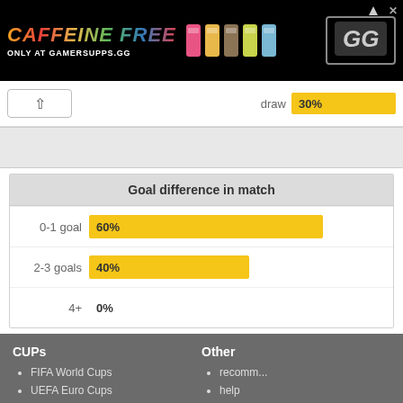[Figure (infographic): Advertisement banner: CAFFEINE FREE, ONLY AT GAMERSUPPS.GG, black background with colorful cans and logo]
draw 30%
[Figure (bar-chart): Goal difference in match]
CUPs
FIFA World Cups
UEFA Euro Cups
CONMEBOL Copa America
Other
recomm...
help
old site
Soccer Scores